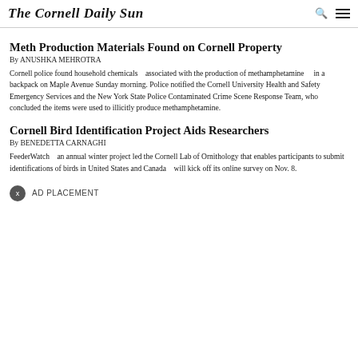The Cornell Daily Sun
Meth Production Materials Found on Cornell Property
By ANUSHKA MEHROTRA
Cornell police found household chemicals associated with the production of methamphetamine in a backpack on Maple Avenue Sunday morning. Police notified the Cornell University Health and Safety Emergency Services and the New York State Police Contaminated Crime Scene Response Team, who concluded the items were used to illicitly produce methamphetamine.
Cornell Bird Identification Project Aids Researchers
By BENEDETTA CARNAGHI
FeederWatch an annual winter project led the Cornell Lab of Ornithology that enables participants to submit identifications of birds in United States and Canada will kick off its online survey on Nov. 8.
AD PLACEMENT